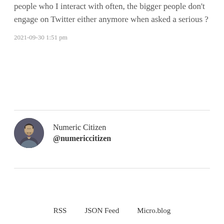people who I interact with often, the bigger people don't engage on Twitter either anymore when asked a serious ?
2021-09-30 1:51 pm
Numeric Citizen
@numericcitizen
RSS   JSON Feed   Micro.blog